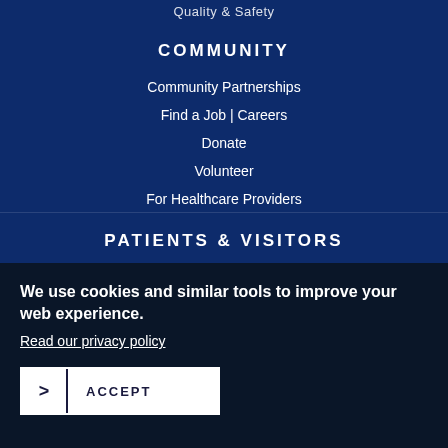Quality & Safety
COMMUNITY
Community Partnerships
Find a Job | Careers
Donate
Volunteer
For Healthcare Providers
Referrals
PATIENTS & VISITORS
We use cookies and similar tools to improve your web experience.
Read our privacy policy
ACCEPT